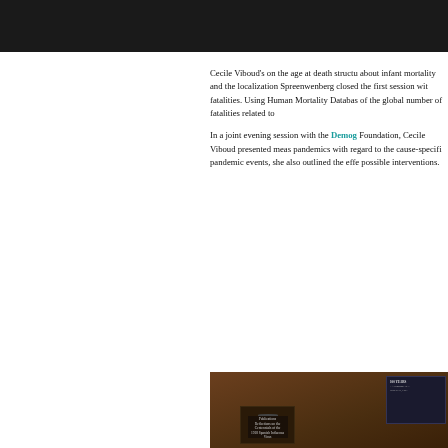Cecile Viboud’s on the age at death structure about infant mortality and the localization. Spreenwenberg closed the first session with fatalities. Using Human Mortality Database of the global number of fatalities related to
In a joint evening session with the Demographic Foundation, Cecile Viboud presented measures pandemics with regard to the cause-specific pandemic events, she also outlined the effects of possible interventions.
[Figure (photo): A photograph of a conference presentation, showing a podium with a publication display and a slide on screen reading '100 YEARS - A Pandemic...']